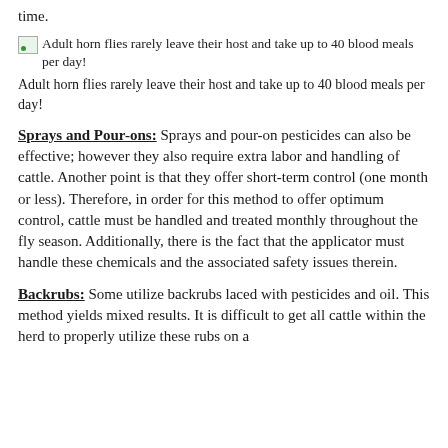time.
[Figure (photo): Adult horn flies rarely leave their host and take up to 40 blood meals per day!]
Adult horn flies rarely leave their host and take up to 40 blood meals per day!
Sprays and Pour-ons: Sprays and pour-on pesticides can also be effective; however they also require extra labor and handling of cattle. Another point is that they offer short-term control (one month or less). Therefore, in order for this method to offer optimum control, cattle must be handled and treated monthly throughout the fly season. Additionally, there is the fact that the applicator must handle these chemicals and the associated safety issues therein.
Backrubs: Some utilize backrubs laced with pesticides and oil. This method yields mixed results. It is difficult to get all cattle within the herd to properly utilize these rubs on a